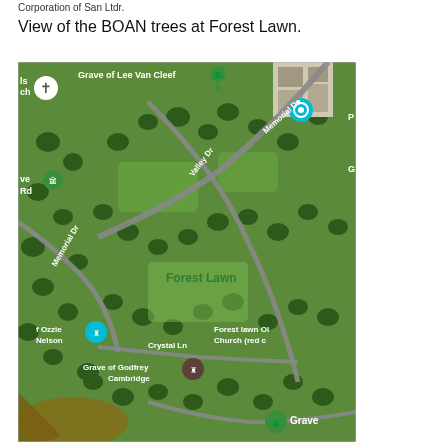Corporation of San Ltdr.
View of the BOAN trees at Forest Lawn.
[Figure (map): Aerial/satellite map view of Forest Lawn cemetery area showing roads (Memorial Dr, Valley Dr, Crystal Ln), landmarks including Grave of Lee Van Cleef, Grave of Ozzie Nelson, Grave of Godfrey Cambridge, Forest Lawn, and Forest lawn Old Church (red). Map pins and labels visible.]